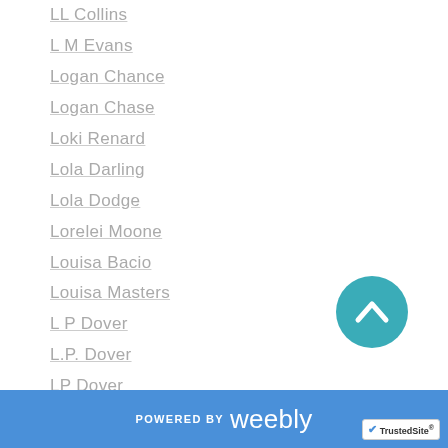LL Collins
L M Evans
Logan Chance
Logan Chase
Loki Renard
Lola Darling
Lola Dodge
Lorelei Moone
Louisa Bacio
Louisa Masters
L P Dover
L.P. Dover
LP Dover
L P Lovell
LP Lovell
Lucas Astor
Lucy Felthouse
[Figure (other): Teal circular scroll-to-top button with upward chevron arrow icon]
POWERED BY weebly | TrustedSite